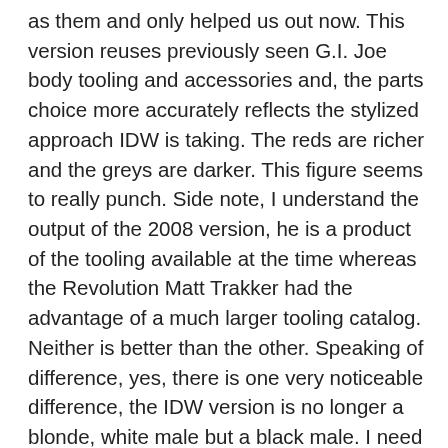as them and only helped us out now.  This version reuses previously seen G.I. Joe body tooling and accessories and, the parts choice more accurately reflects the stylized approach IDW is taking.  The reds are richer and the greys are darker.  This figure seems to really punch.  Side note, I understand the output of the 2008 version, he is a product of the tooling available at the time whereas the Revolution Matt Trakker had the advantage of a much larger tooling catalog.  Neither is better than the other.  Speaking of difference, yes, there is one very noticeable difference, the IDW version is no longer a blonde, white male but a black male.  I need to make a point to confirm this but I am confident the change derives from a certain team we all know already had a blonde, white leader.  Seemingly unrelated, early super hero costumes' simple and bright tropes derive from easy recognition on the reader's part.  I'm sure Duke will be interacting with Matt Trakker in the